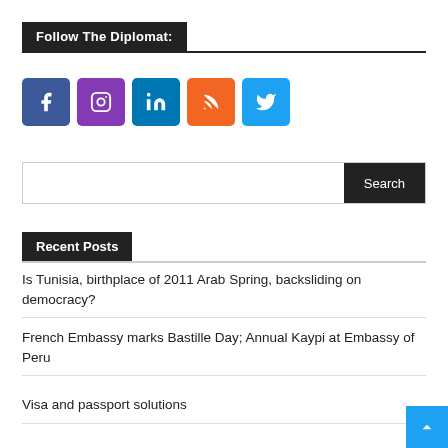Follow The Diplomat:
[Figure (infographic): Five social media icon buttons: Facebook (blue), Instagram (purple), LinkedIn (blue), RSS (orange), Twitter (light blue)]
[Figure (other): Search input field with Search button]
Recent Posts
Is Tunisia, birthplace of 2011 Arab Spring, backsliding on democracy?
French Embassy marks Bastille Day; Annual Kaypi at Embassy of Peru
Visa and passport solutions